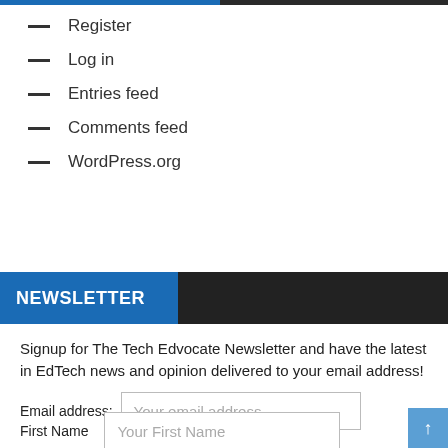Register
Log in
Entries feed
Comments feed
WordPress.org
NEWSLETTER
Signup for The Tech Edvocate Newsletter and have the latest in EdTech news and opinion delivered to your email address!
Email address: Your email address
First Name Your First Name